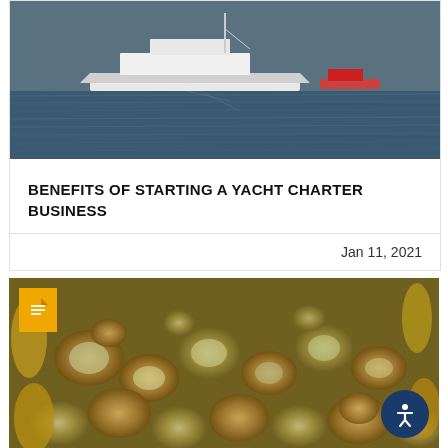[Figure (photo): Aerial or side view of a yacht on dark blue water]
BENEFITS OF STARTING A YACHT CHARTER BUSINESS
Jan 11, 2021
[Figure (photo): Close-up photo of barnacles or mussels/shellfish on a surface, with a document icon overlay and an accessibility button in the bottom right]